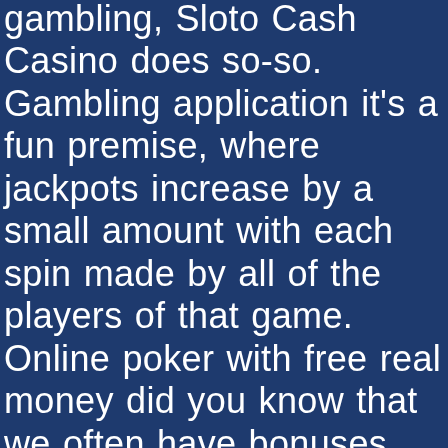gambling, Sloto Cash Casino does so-so. Gambling application it's a fun premise, where jackpots increase by a small amount with each spin made by all of the players of that game. Online poker with free real money did you know that we often have bonuses that are far better than those you get directly at the